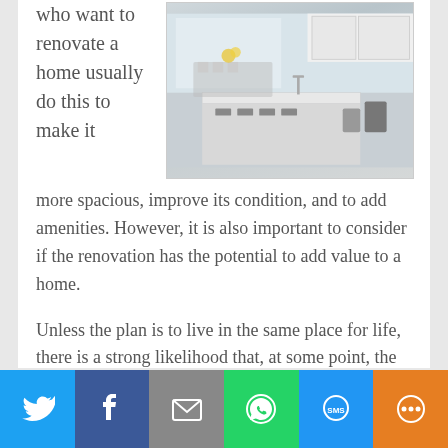[Figure (photo): Photo of a modern white kitchen with a large island, bar stools, and open floor plan visible through large windows.]
who want to renovate a home usually do this to make it more spacious, improve its condition, and to add amenities. However, it is also important to consider if the renovation has the potential to add value to a home.
Unless the plan is to live in the same place for life, there is a strong likelihood that, at some point, the home will go on the market for sale. It is nice if it sells for a high price and there is some
[Figure (infographic): Social media share bar with Twitter, Facebook, Email, WhatsApp, SMS, and More buttons.]